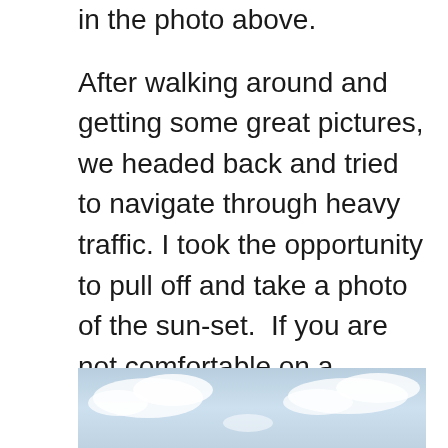in the photo above.
After walking around and getting some great pictures, we headed back and tried to navigate through heavy traffic. I took the opportunity to pull off and take a photo of the sun-set.  If you are not comfortable on a motorbike or feel nervous in heavy traffic that does not obey any rules, than I would recommend to go with a guided tour.
[Figure (photo): Photo of a blue sky with white fluffy clouds, partially visible at the bottom of the page.]